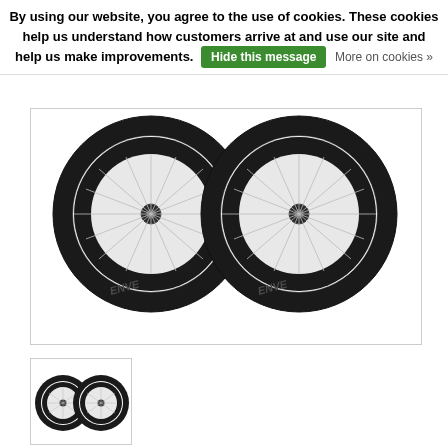By using our website, you agree to the use of cookies. These cookies help us understand how customers arrive at and use our site and help us make improvements. Hide this message More on cookies »
[Figure (photo): Two black ENVE carbon road bicycle wheels with silver spokes shown side by side, front view. Deep section carbon rims with ENVE branding visible on the rim sidewall.]
[Figure (photo): Thumbnail image of the same two ENVE carbon road bicycle wheels, smaller view.]